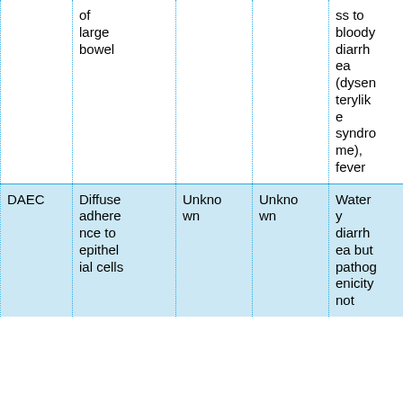|  | of large bowel |  |  | ss to bloody diarrhea (dysenterylike syndrome), fever |
| DAEC | Diffuse adherence to epithelial cells | Unknown | Unknown | Watery diarrhea but pathogenicity not |